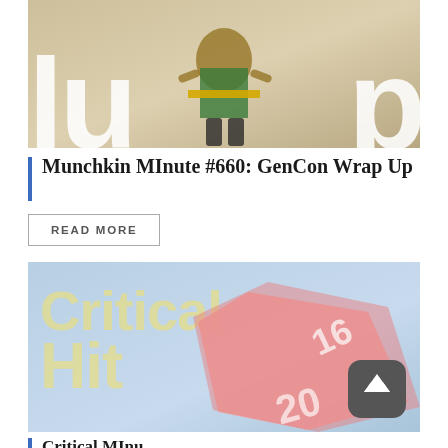[Figure (illustration): Munchkin character illustration with large white 'Lu' letters on left and 'p' on right against a tan/brown background, character wearing green outfit visible in center]
Munchkin MInute #660: GenCon Wrap Up
READ MORE
[Figure (illustration): Critical Hit podcast artwork showing large yellow 'Critical Hit' text on a light blue background with pink/red polyhedral dice showing numbers 16 and 20]
Critical MInu... (partially visible)